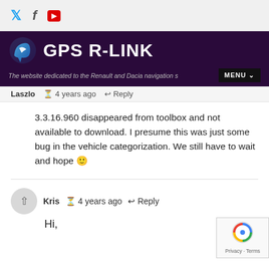GPS R-LINK — The website dedicated to the Renault and Dacia navigation systems
Laszlo  4 years ago  Reply
3.3.16.960 disappeared from toolbox and not available to download. I presume this was just some bug in the vehicle categorization. We still have to wait and hope 🙂
Kris  4 years ago  Reply
Hi,